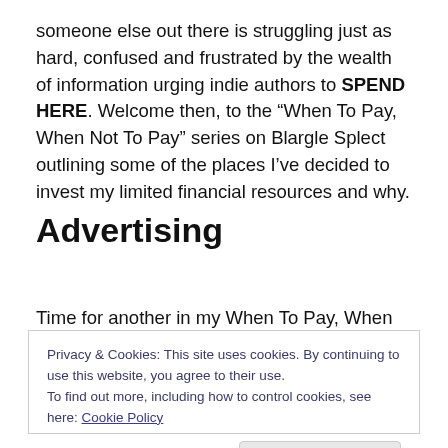someone else out there is struggling just as hard, confused and frustrated by the wealth of information urging indie authors to SPEND HERE. Welcome then, to the “When To Pay, When Not To Pay” series on Blargle Splect outlining some of the places I’ve decided to invest my limited financial resources and why.
Advertising
Time for another in my When To Pay, When Not To Pay
Privacy & Cookies: This site uses cookies. By continuing to use this website, you agree to their use.
To find out more, including how to control cookies, see here: Cookie Policy